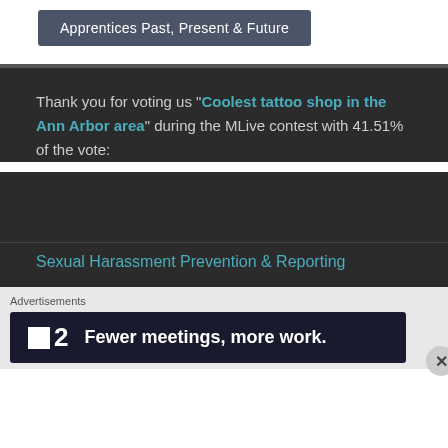Apprentices Past, Present & Future
Thank you for voting us "Coolest tattoo shop in the Ann Arbor area" during the MLive contest with 41.51% of the vote:
Sexual Harassment Prevention & Reporting
Advertisements
[Figure (screenshot): Advertisement banner: logo with square and number 2, text 'Fewer meetings, more work.']